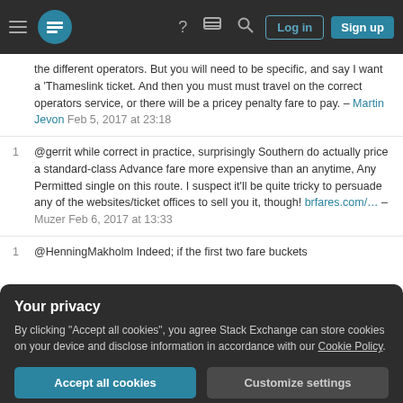Stack Exchange navigation bar with hamburger menu, logo, help, chat, search icons, Log in and Sign up buttons
the different operators. But you will need to be specific, and say I want a 'Thameslink ticket. And then you must must travel on the correct operators service, or there will be a pricey penalty fare to pay. – Martin Jevon Feb 5, 2017 at 23:18
1 @gerrit while correct in practice, surprisingly Southern do actually price a standard-class Advance fare more expensive than an anytime, Any Permitted single on this route. I suspect it'll be quite tricky to persuade any of the websites/ticket offices to sell you it, though! brfares.com/… – Muzer Feb 6, 2017 at 13:33
1 @HenningMakholm Indeed; if the first two fare buckets
Your privacy
By clicking "Accept all cookies", you agree Stack Exchange can store cookies on your device and disclose information in accordance with our Cookie Policy.
Accept all cookies  Customize settings
Railforums combined with train operators just looking